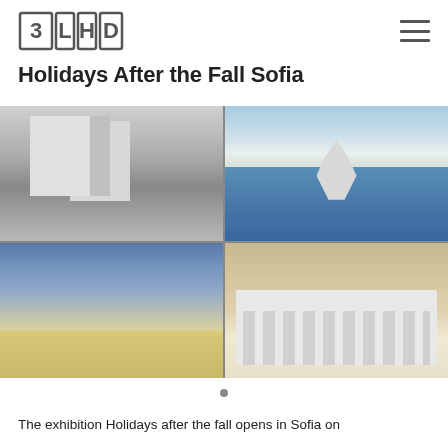3LHD
Holidays After the Fall Sofia
[Figure (photo): Four-panel image grid showing holiday/resort architecture: top-left is a black and white photo of a street with buildings, top-right is a color photo of a modern building with a pool and palm-like structure, bottom-left is a beach scene with lounge chairs, bottom-right is a modern white building facade with arched elements.]
The exhibition Holidays after the fall opens in Sofia on